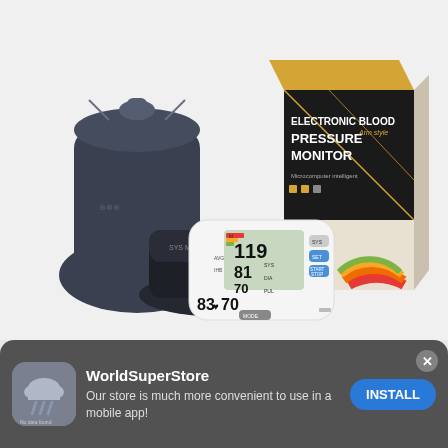[Figure (photo): Product photo of an Electronic Blood Pressure Monitor set, showing a white digital BP monitor device with LCD display showing readings (119, 81, 70), a black arm cuff, a dark navy drawstring bag, and the product box (gold/black with 'ELECTRONIC BLOOD PRESSURE MONITOR Arm style' printed on it, with usage instructions illustrated on the side). The box also features a blood pressure classification chart (rainbow arc in red/orange/yellow/green). All items on a white/light gray background.]
WorldSuperStore
Our store is much more convenient to use in a mobile app!